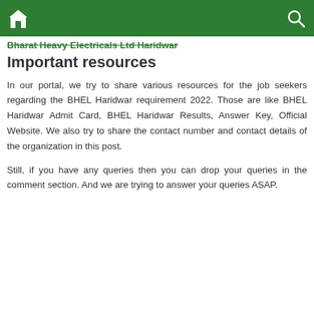Bharat Heavy Electricals Ltd Haridwar
Important resources
In our portal, we try to share various resources for the job seekers regarding the BHEL Haridwar requirement 2022. Those are like BHEL Haridwar Admit Card, BHEL Haridwar Results, Answer Key, Official Website. We also try to share the contact number and contact details of the organization in this post.
Still, if you have any queries then you can drop your queries in the comment section. And we are trying to answer your queries ASAP.